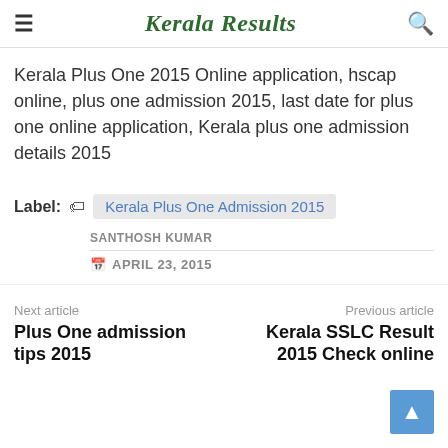Kerala Results
Kerala Plus One 2015 Online application, hscap online, plus one admission 2015, last date for plus one online application, Kerala plus one admission details 2015
Label: Kerala Plus One Admission 2015
SANTHOSH KUMAR
APRIL 23, 2015
Next article
Plus One admission tips 2015
Previous article
Kerala SSLC Result 2015 Check online